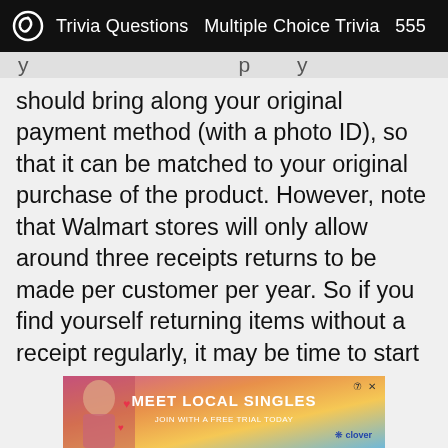Trivia Questions  Multiple Choice Trivia  555
should bring along your original payment method (with a photo ID), so that it can be matched to your original purchase of the product. However, note that Walmart stores will only allow around three receipts returns to be made per customer per year. So if you find yourself returning items without a receipt regularly, it may be time to start hanging on to those receipts.
[Figure (infographic): Advertisement banner: MEET LOCAL SINGLES - JOIN WITH A FREE TRIAL TODAY - clover logo, with a woman photo on left side]